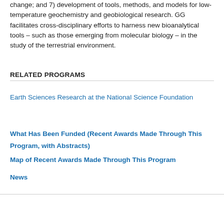change; and 7) development of tools, methods, and models for low-temperature geochemistry and geobiological research. GG facilitates cross-disciplinary efforts to harness new bioanalytical tools – such as those emerging from molecular biology – in the study of the terrestrial environment.
RELATED PROGRAMS
Earth Sciences Research at the National Science Foundation
What Has Been Funded (Recent Awards Made Through This Program, with Abstracts)
Map of Recent Awards Made Through This Program
News